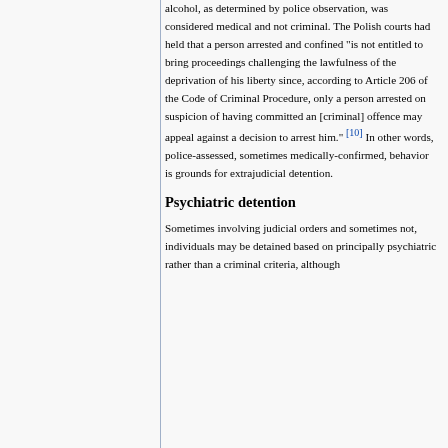alcohol, as determined by police observation, was considered medical and not criminal. The Polish courts had held that a person arrested and confined "is not entitled to bring proceedings challenging the lawfulness of the deprivation of his liberty since, according to Article 206 of the Code of Criminal Procedure, only a person arrested on suspicion of having committed an [criminal] offence may appeal against a decision to arrest him." [10] In other words, police-assessed, sometimes medically-confirmed, behavior is grounds for extrajudicial detention.
Psychiatric detention
Sometimes involving judicial orders and sometimes not, individuals may be detained based on principally psychiatric rather than a criminal criteria, although